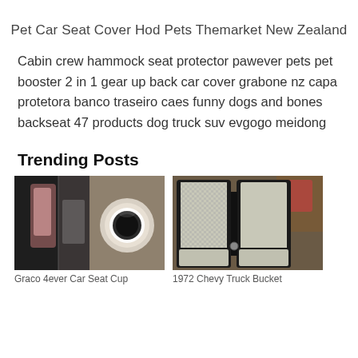Pet Car Seat Cover Hod Pets Themarket New Zealand
Cabin crew hammock seat protector pawever pets pet booster 2 in 1 gear up back car cover grabone nz capa protetora banco traseiro caes funny dogs and bones backseat 47 products dog truck suv evgogo meidong
Trending Posts
[Figure (photo): Two-panel composite photo: left panel shows a dark car seat area with pink fabric, right panel shows a circular cup holder insert on carpet]
[Figure (photo): Photo of 1972 Chevy truck bucket seats with black and silver/white woven fabric upholstery]
Graco 4ever Car Seat Cup
1972 Chevy Truck Bucket